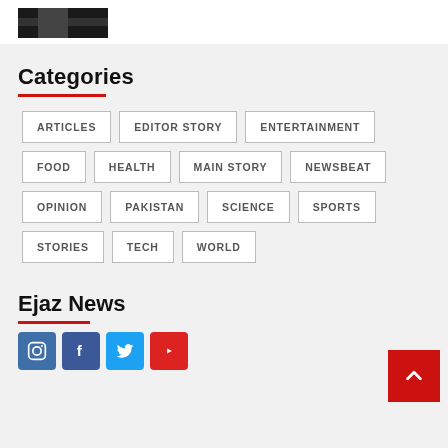[Figure (photo): Partial cropped image at top, dark content, appears to be a news article thumbnail]
Categories
ARTICLES
EDITOR STORY
ENTERTAINMENT
FOOD
HEALTH
MAIN STORY
NEWSBEAT
OPINION
PAKISTAN
SCIENCE
SPORTS
STORIES
TECH
WORLD
Ejaz News
[Figure (other): Social media icons: Instagram, Facebook, Twitter, YouTube]